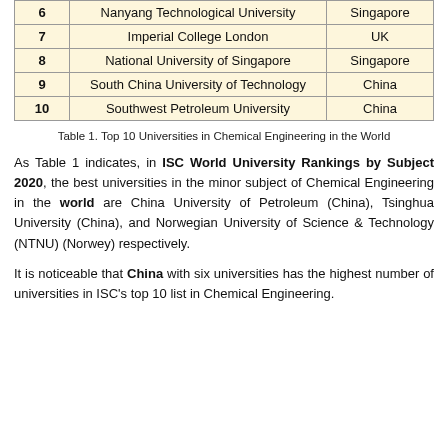|  | University | Country |
| --- | --- | --- |
| 6 | Nanyang Technological University | Singapore |
| 7 | Imperial College London | UK |
| 8 | National University of Singapore | Singapore |
| 9 | South China University of Technology | China |
| 10 | Southwest Petroleum University | China |
Table 1. Top 10 Universities in Chemical Engineering in the World
As Table 1 indicates, in ISC World University Rankings by Subject 2020, the best universities in the minor subject of Chemical Engineering in the world are China University of Petroleum (China), Tsinghua University (China), and Norwegian University of Science & Technology (NTNU) (Norwey) respectively.
It is noticeable that China with six universities has the highest number of universities in ISC's top 10 list in Chemical Engineering.